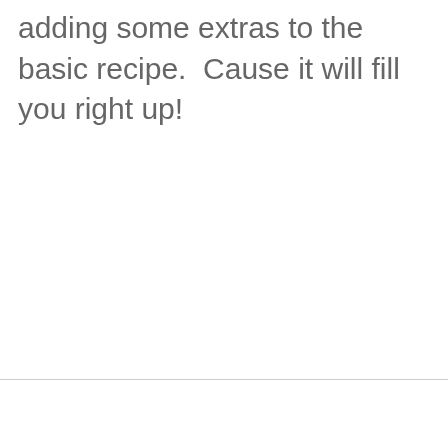adding some extras to the basic recipe.  Cause it will fill you right up!